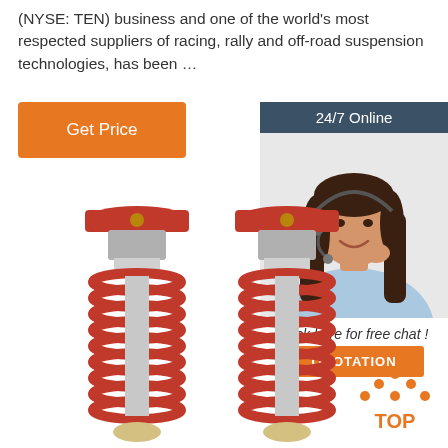(NYSE: TEN) business and one of the world's most respected suppliers of racing, rally and off-road suspension technologies, has been …
[Figure (other): Orange 'Get Price' button]
[Figure (other): 24/7 Online chat widget with female customer service representative, 'Click here for free chat!' text, and orange QUOTATION button]
[Figure (photo): Two red coilover suspension assemblies with red springs on metallic shock absorber bodies]
[Figure (other): Orange 'TOP' back-to-top icon with dots forming an upward chevron]